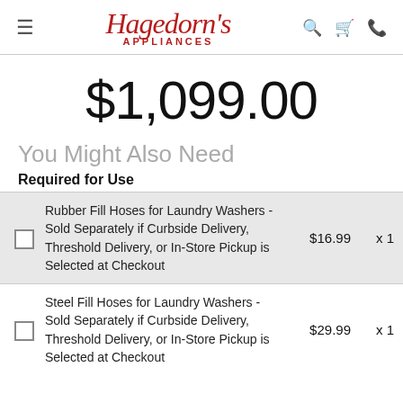Hagedorn's Appliances
$1,099.00
You Might Also Need
Required for Use
Rubber Fill Hoses for Laundry Washers - Sold Separately if Curbside Delivery, Threshold Delivery, or In-Store Pickup is Selected at Checkout  $16.99  x 1
Steel Fill Hoses for Laundry Washers - Sold Separately if Curbside Delivery, Threshold Delivery, or In-Store Pickup is Selected at Checkout  $29.99  x 1